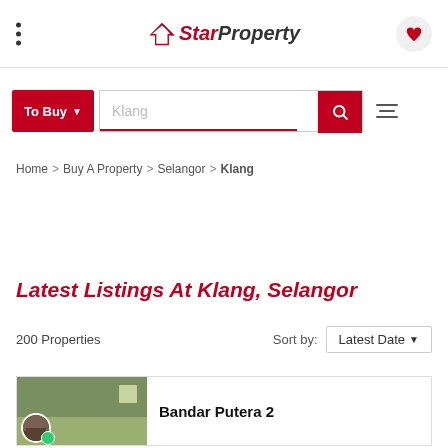StarProperty
To Buy  Klang
Home > Buy A Property > Selangor > Klang
Latest Listings At Klang, Selangor
200 Properties   Sort by: Latest Date
Bandar Putera 2